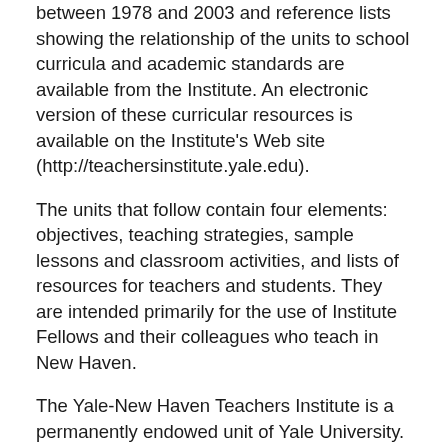between 1978 and 2003 and reference lists showing the relationship of the units to school curricula and academic standards are available from the Institute. An electronic version of these curricular resources is available on the Institute's Web site (http://teachersinstitute.yale.edu).
The units that follow contain four elements: objectives, teaching strategies, sample lessons and classroom activities, and lists of resources for teachers and students. They are intended primarily for the use of Institute Fellows and their colleagues who teach in New Haven.
The Yale-New Haven Teachers Institute is a permanently endowed unit of Yale University. The 2003 Institute was supported also by grants from the Sherman Fairchild Foundation, the Jessie Ball duPont Fund and the Howard Hughes Medical Institute. The New Haven Public Schools, Yale's partner in the Institute, has supported the program annually since its inception. The materials presented here